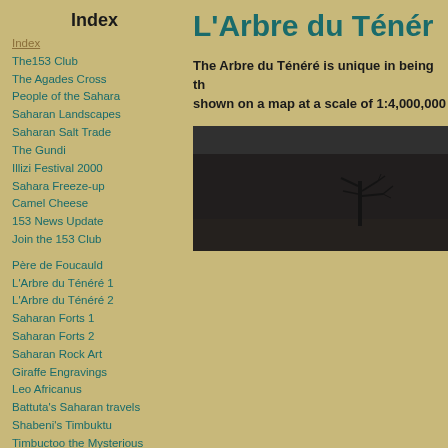Index
Index
The153 Club
The Agades Cross
People of the Sahara
Saharan Landscapes
Saharan Salt Trade
The Gundi
Illizi Festival 2000
Sahara Freeze-up
Camel Cheese
153 News Update
Join the 153 Club
Père de Foucauld
L'Arbre du Ténéré 1
L'Arbre du Ténéré 2
Saharan Forts 1
Saharan Forts 2
Saharan Rock Art
Giraffe Engravings
Leo Africanus
Battuta's Saharan travels
Shabeni's Timbuktu
Timbuctoo the Mysterious
Heroditus & Pliny on Libya
Timbuktu, a poem
Joliba Trust
Ibn Khaldûn quotes 1
Ibn Khaldûn quotes 2
Ibn Khaldûn quotes 3
Ibn Khaldûn quotes 4
L'Arbre du Ténéré
The Arbre du Ténéré is unique in being the only tree shown on a map at a scale of 1:4,000,000
[Figure (photo): Black and white photograph of the Arbre du Ténéré tree in the desert landscape]